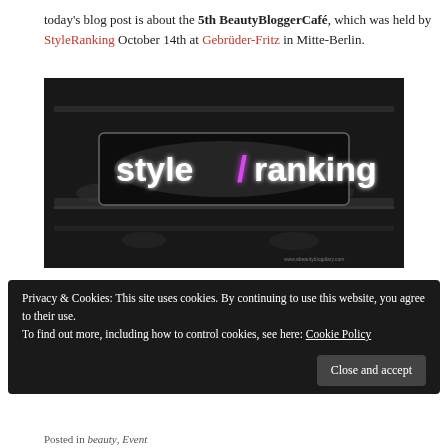today's blog post is about the 5th BeautyBloggerCafé, which was held by StyleRanking October 14th at Gebrüder-Fritz in Mitte-Berlin.
[Figure (photo): A dark photograph of a backlit 'style/ranking' neon sign on a shelf or table, with a glowing pink slash between the two words. The background is dark/black-and-white with some blurred items visible.]
Privacy & Cookies: This site uses cookies. By continuing to use this website, you agree to their use. To find out more, including how to control cookies, see here: Cookie Policy
Close and accept
Posted in beauty, Event